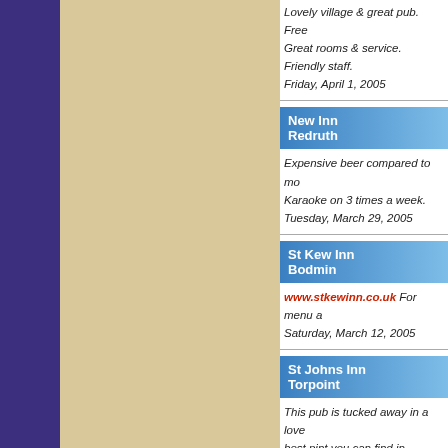Lovely village & great pub. Free... Great rooms & service. Friendly staff. Friday, April 1, 2005
New Inn
Redruth
Expensive beer compared to mo... Karaoke on 3 times a week. Tuesday, March 29, 2005
St Kew Inn
Bodmin
www.stkewinn.co.uk For menu a... Saturday, March 12, 2005
St Johns Inn
Torpoint
This pub is tucked away in a love... best pint you can find in Cornwa... we we had to pay ÂE1 a pint whi... Food is good, but opening hours... Well worth finding. ( on the side ... Thursday, March 10, 2005